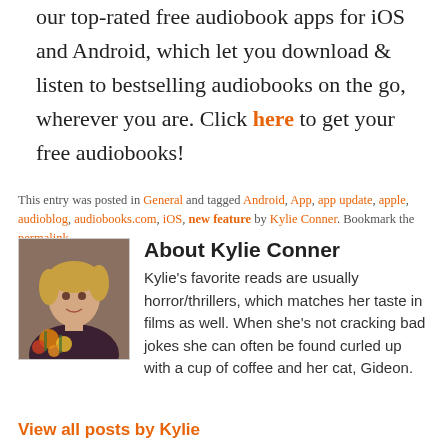our top-rated free audiobook apps for iOS and Android, which let you download & listen to bestselling audiobooks on the go, wherever you are. Click here to get your free audiobooks!
This entry was posted in General and tagged Android, App, app update, apple, audioblog, audiobooks.com, iOS, new feature by Kylie Conner. Bookmark the permalink.
[Figure (photo): Headshot photo of Kylie Conner, a young woman with blonde hair holding flowers, wearing a dark floral dress.]
About Kylie Conner
Kylie's favorite reads are usually horror/thrillers, which matches her taste in films as well. When she's not cracking bad jokes she can often be found curled up with a cup of coffee and her cat, Gideon.
View all posts by Kylie